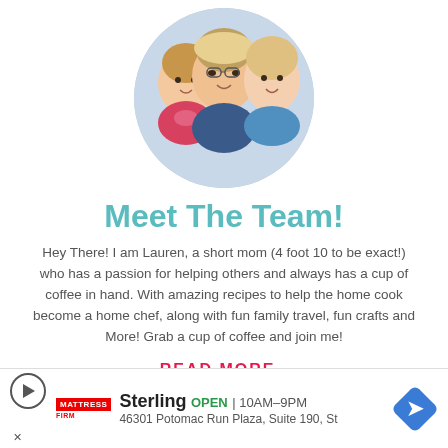[Figure (photo): Circular cropped family photo showing a woman and two girls smiling closely together in a selfie style]
Meet The Team!
Hey There! I am Lauren, a short mom (4 foot 10 to be exact!) who has a passion for helping others and always has a cup of coffee in hand. With amazing recipes to help the home cook become a home chef, along with fun family travel, fun crafts and More! Grab a cup of coffee and join me!
READ MORE..
[Figure (advertisement): Mattress Firm ad for Sterling location. OPEN 10AM-9PM. 46301 Potomac Run Plaza, Suite 190, St]